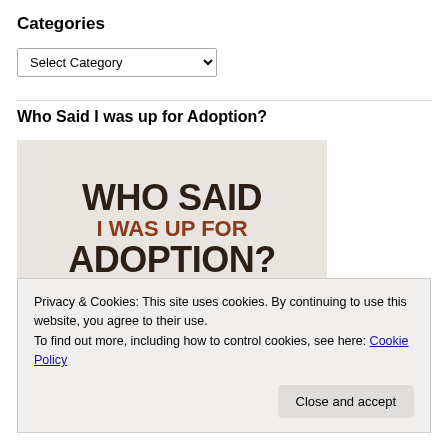Categories
Select Category
Who Said I was up for Adoption?
[Figure (illustration): Book cover image with bold dark brown text reading 'WHO SAID I WAS UP FOR ADOPTION?' with red-brown text 'I WAS UP FOR' on a light gray/beige background. Subtitle partially visible reading 'A story about one calculating dog'.]
Privacy & Cookies: This site uses cookies. By continuing to use this website, you agree to their use.
To find out more, including how to control cookies, see here: Cookie Policy
Close and accept